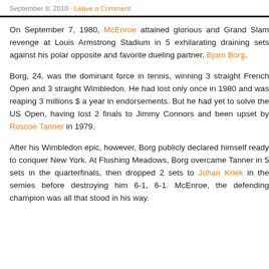September 8, 2010 · Leave a Comment
On September 7, 1980, McEnroe attained glorious and Grand Slam revenge at Louis Armstrong Stadium in 5 exhilarating draining sets against his polar opposite and favorite dueling partner, Bjorn Borg.
Borg, 24, was the dominant force in tennis, winning 3 straight French Open and 3 straight Wimbledon. He had lost only once in 1980 and was reaping 3 millions $ a year in endorsements. But he had yet to solve the US Open, having lost 2 finals to Jimmy Connors and been upset by Roscoe Tanner in 1979.
After his Wimbledon epic, however, Borg publicly declared himself ready to conquer New York. At Flushing Meadows, Borg overcame Tanner in 5 sets in the quarterfinals, then dropped 2 sets to Johan Kriek in the semies before destroying him 6-1, 6-1. McEnroe, the defending champion was all that stood in his way.